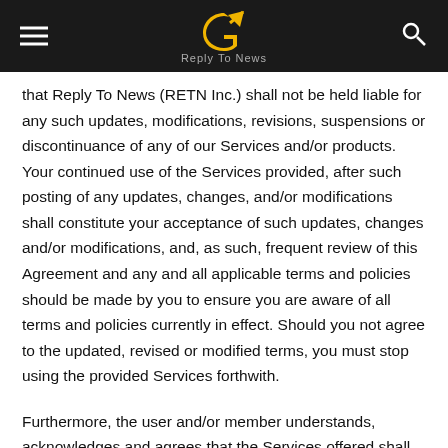Reply To News
that Reply To News (RETN Inc.) shall not be held liable for any such updates, modifications, revisions, suspensions or discontinuance of any of our Services and/or products. Your continued use of the Services provided, after such posting of any updates, changes, and/or modifications shall constitute your acceptance of such updates, changes and/or modifications, and, as such, frequent review of this Agreement and any and all applicable terms and policies should be made by you to ensure you are aware of all terms and policies currently in effect. Should you not agree to the updated, revised or modified terms, you must stop using the provided Services forthwith.
Furthermore, the user and/or member understands, acknowledges and agrees that the Services offered shall be